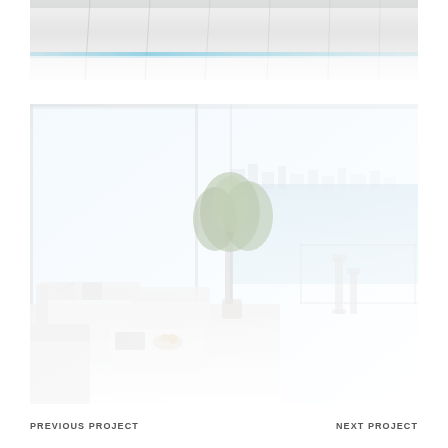[Figure (photo): Interior architectural photo showing white ceiling panels with blue accent lighting strip, very bright and washed out, partial view]
[Figure (photo): Luxury high-rise apartment balcony/living area with white furniture (sofa, chairs, coffee table), large tropical plant, glass railing, and panoramic ocean and city skyline view in the background. Very bright, airy, and washed-out aesthetic.]
PREVIOUS PROJECT
NEXT PROJECT